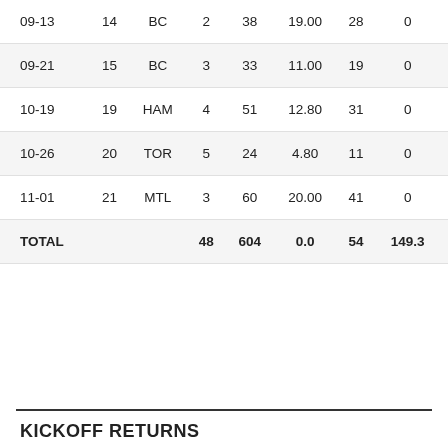| 09-13 | 14 | BC | 2 | 38 | 19.00 | 28 | 0 |
| 09-21 | 15 | BC | 3 | 33 | 11.00 | 19 | 0 |
| 10-19 | 19 | HAM | 4 | 51 | 12.80 | 31 | 0 |
| 10-26 | 20 | TOR | 5 | 24 | 4.80 | 11 | 0 |
| 11-01 | 21 | MTL | 3 | 60 | 20.00 | 41 | 0 |
| TOTAL |  |  | 48 | 604 | 0.0 | 54 | 149.3 |
KICKOFF RETURNS